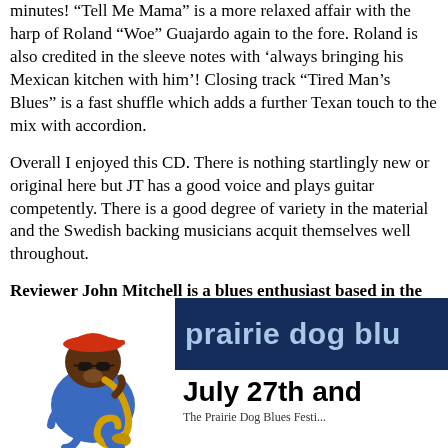minutes! “Tell Me Mama” is a more relaxed affair with the harp of Roland “Woe” Guajardo again to the fore. Roland is also credited in the sleeve notes with ‘always bringing his Mexican kitchen with him’! Closing track “Tired Man’s Blues” is a fast shuffle which adds a further Texan touch to the mix with accordion.
Overall I enjoyed this CD. There is nothing startlingly new or original here but JT has a good voice and plays guitar competently. There is a good degree of variety in the material and the Swedish backing musicians acquit themselves well throughout.
Reviewer John Mitchell is a blues enthusiast based in the UK. He also travels to the States most years to see live blues music and enjoyed the Tampa Bay Blues Festival in April.
For other reviews and interviews on our website CLICK HERE
[Figure (illustration): Cartoon of a bear-like character wearing a red cap and sunglasses, playing a golden saxophone, dressed in a blue shirt]
[Figure (screenshot): Dark blue banner with text 'prairie dog blu' in light blue bold font, followed by bold black text 'July 27th and' and smaller caption text 'The Prairie Dog Blues Festi...']